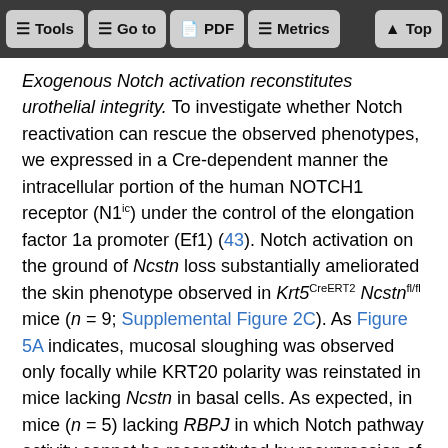Tools | Go to | PDF | Metrics | Top
Exogenous Notch activation reconstitutes urothelial integrity. To investigate whether Notch reactivation can rescue the observed phenotypes, we expressed in a Cre-dependent manner the intracellular portion of the human NOTCH1 receptor (N1ic) under the control of the elongation factor 1a promoter (Ef1) (43). Notch activation on the ground of Ncstn loss substantially ameliorated the skin phenotype observed in Krt5CreERT2 Ncstnfl/fl mice (n = 9; Supplemental Figure 2C). As Figure 5A indicates, mucosal sloughing was observed only focally while KRT20 polarity was reinstated in mice lacking Ncstn in basal cells. As expected, in mice (n = 5) lacking RBPJ in which Notch pathway activity cannot be reconstituted by reexpression of the constitutively active N1ic, mucosal sloughing was not rescued. This